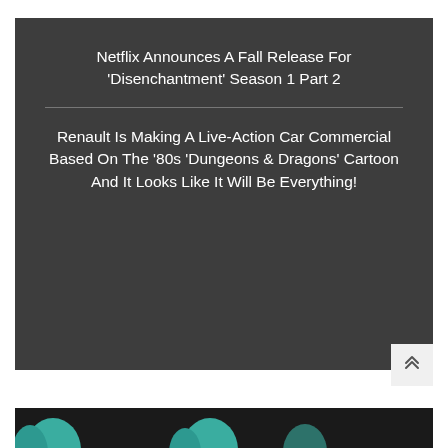Netflix Announces A Fall Release For ‘Disenchantment’ Season 1 Part 2
Renault Is Making A Live-Action Car Commercial Based On The ’80s ‘Dungeons & Dragons’ Cartoon And It Looks Like It Will Be Everything!
[Figure (photo): Dark background image strip with teal/turquoise shapes visible at left and center, partially cropped at bottom of page]